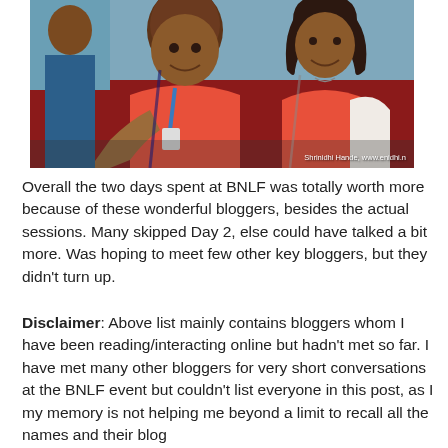[Figure (photo): Two people smiling in what appears to be a car or vehicle, both wearing red/pink clothing. Watermark reads: Shrinidhi Hande, www.enidhi.n]
Overall the two days spent at BNLF was totally worth more because of these wonderful bloggers, besides the actual sessions. Many skipped Day 2, else could have talked a bit more. Was hoping to meet few other key bloggers, but they didn't turn up.
Disclaimer: Above list mainly contains bloggers whom I have been reading/interacting online but hadn't met so far. I have met many other bloggers for very short conversations at the BNLF event but couldn't list everyone in this post, as I my memory is not helping me beyond a limit to recall all the names and their blog